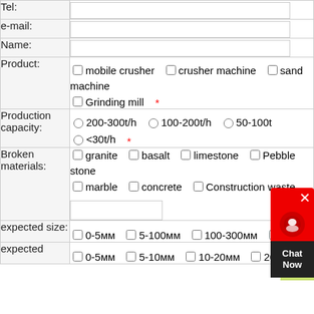| Field | Value |
| --- | --- |
| Tel: |  |
| e-mail: |  |
| Name: |  |
| Product: | mobile crusher  crusher machine  sand machine  Grinding mill * |
| Production capacity: | 200-300t/h  100-200t/h  50-100t/h  <30t/h * |
| Broken materials: | granite  basalt  limestone  Pebble stone  marble  concrete  Construction waste  [input] |
| expected size: | 0-5мм  5-100мм  100-300мм  300мм+ |
| expected | 0-5мм  5-10мм  10-20мм  20-40мм |